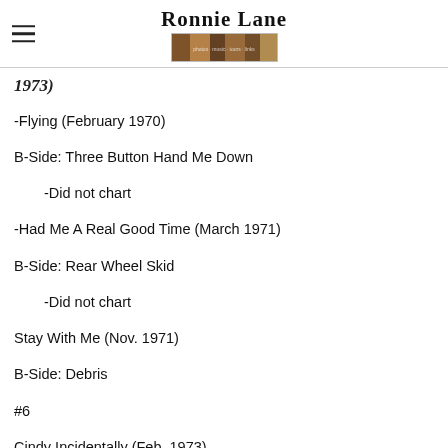Ronnie Lane
1973)
-Flying (February 1970)
B-Side: Three Button Hand Me Down
    -Did not chart
-Had Me A Real Good Time (March 1971)
B-Side: Rear Wheel Skid
    -Did not chart
Stay With Me (Nov. 1971)
B-Side: Debris
#6
Cindy Incidentally (Feb. 1973)
B-Side: Slewniff...
#2
Poolhall Richard (Oct. 1973)